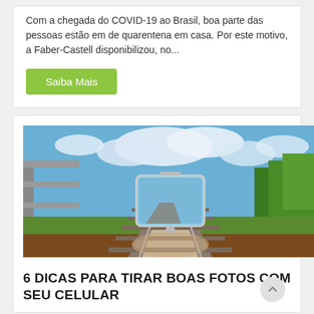Com a chegada do COVID-19 ao Brasil, boa parte das pessoas estão em de quarentena em casa. Por este motivo, a Faber-Castell disponibilizou, no...
Saiba Mais
[Figure (photo): Person holding a smartphone taking a photo of a railway track surrounded by green trees and vegetation under a cloudy blue sky.]
6 DICAS PARA TIRAR BOAS FOTOS COM SEU CELULAR